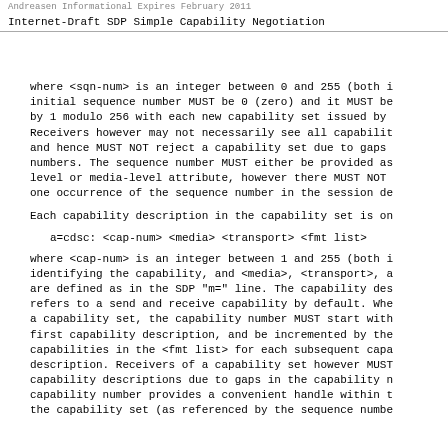Andreasen               Informational           Expires February 2011

Internet-Draft      SDP Simple Capability Negotiation
where <sqn-num> is an integer between 0 and 255 (both i initial sequence number MUST be 0 (zero) and it MUST be by 1 modulo 256 with each new capability set issued by Receivers however may not necessarily see all capabilit and hence MUST NOT reject a capability set due to gaps numbers. The sequence number MUST either be provided as level or media-level attribute, however there MUST NOT one occurrence of the sequence number in the session de
Each capability description in the capability set is on
a=cdsc: <cap-num> <media> <transport> <fmt list>
where <cap-num> is an integer between 1 and 255 (both i identifying the capability, and <media>, <transport>, a are defined as in the SDP "m=" line. The capability des refers to a send and receive capability by default. Whe a capability set, the capability number MUST start with first capability description, and be incremented by the capabilities in the <fmt list> for each subsequent capa description. Receivers of a capability set however MUST capability descriptions due to gaps in the capability n capability number provides a convenient handle within t the capability set (as referenced by the sequence numbe